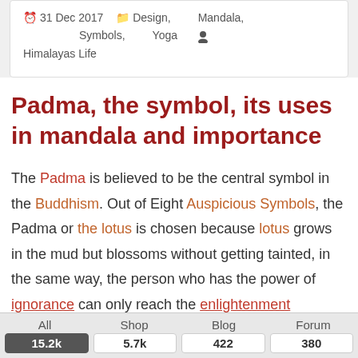31 Dec 2017   Design, Mandala, Symbols, Yoga   Himalayas Life
Padma, the symbol, its uses in mandala and importance
The Padma is believed to be the central symbol in the Buddhism. Out of Eight Auspicious Symbols, the Padma or the lotus is chosen because lotus grows in the mud but blossoms without getting tainted, in the same way, the person who has the power of ignorance can only reach the enlightenment
All 15.2k   Shop 5.7k   Blog 422   Forum 380